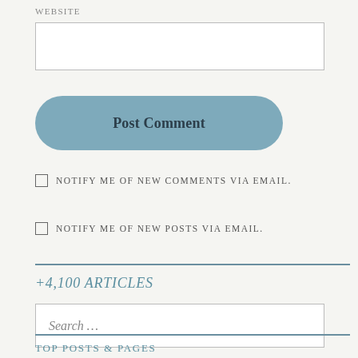WEBSITE
[Figure (other): Website text input field, white rectangle with border]
[Figure (other): Post Comment button, rounded blue rectangle]
NOTIFY ME OF NEW COMMENTS VIA EMAIL.
NOTIFY ME OF NEW POSTS VIA EMAIL.
+4,100 ARTICLES
[Figure (other): Search input field with placeholder text 'Search ...']
TOP POSTS & PAGES